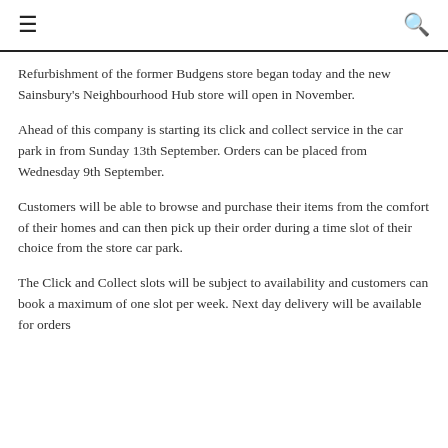☰  🔍
Refurbishment of the former Budgens store began today and the new Sainsbury's Neighbourhood Hub store will open in November.
Ahead of this company is starting its click and collect service in the car park in from Sunday 13th September. Orders can be placed from Wednesday 9th September.
Customers will be able to browse and purchase their items from the comfort of their homes and can then pick up their order during a time slot of their choice from the store car park.
The Click and Collect slots will be subject to availability and customers can book a maximum of one slot per week. Next day delivery will be available for orders